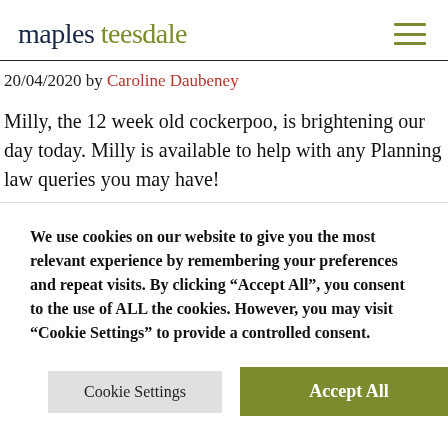maples teesdale
20/04/2020 by Caroline Daubeney
Milly, the 12 week old cockerpoo, is brightening our day today. Milly is available to help with any Planning law queries you may have!
We use cookies on our website to give you the most relevant experience by remembering your preferences and repeat visits. By clicking “Accept All”, you consent to the use of ALL the cookies. However, you may visit “Cookie Settings” to provide a controlled consent.